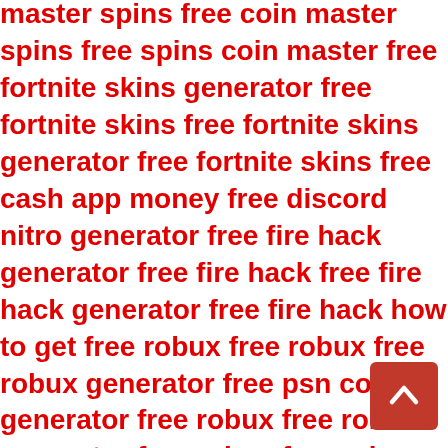master spins free coin master spins free spins coin master free fortnite skins generator free fortnite skins free fortnite skins generator free fortnite skins free cash app money free discord nitro generator free fire hack generator free fire hack free fire hack generator free fire hack how to get free robux free robux free robux generator free psn codes generator free robux free robux generator free robux free robux generator steam gift card generator how to get free robux free robux free robux generator free google play gift card generator free google play gift card generator free pokemon go spoofer free tiktok followers free v bucks free v bucks generator free xbox gift card generator free cash app money source free cash app money free cash app money free coin master spins free coin master spins free spins coin master free fortnite skins generator free fortnite skins free fortnite skins generator fortnite skins free cash app money free discord nitro generator
[Figure (other): Scroll-to-top button: red rounded square with white upward chevron arrow]